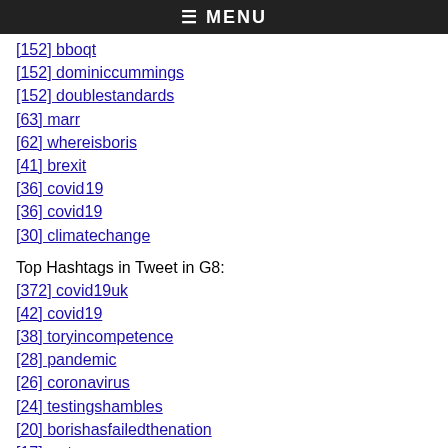≡ MENU
[152] bboqt
[152] dominiccummings
[152] doublestandards
[63] marr
[62] whereisboris
[41] brexit
[36] covid•19
[36] covid19
[30] climatechange
Top Hashtags in Tweet in G8:
[372] covid19uk
[42] covid19
[38] toryincompetence
[28] pandemic
[26] coronavirus
[24] testingshambles
[20] borishasfailedthenation
[17] wato
[17] lbc
[17] skynews
Top Hashtags in Tweet in G9:
[369] covid19uk
[102] maternitypetition
[66] excludeduk